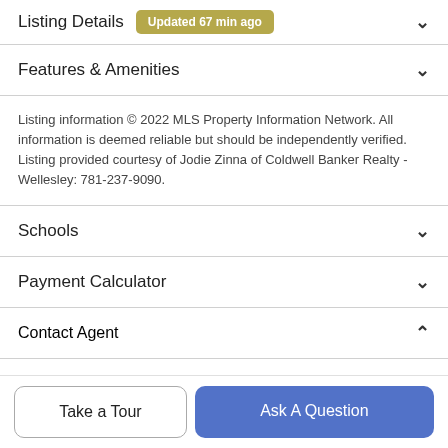Listing Details — Updated 67 min ago
Features & Amenities
Listing information © 2022 MLS Property Information Network. All information is deemed reliable but should be independently verified. Listing provided courtesy of Jodie Zinna of Coldwell Banker Realty - Wellesley: 781-237-9090.
Schools
Payment Calculator
Contact Agent
Take a Tour
Ask A Question